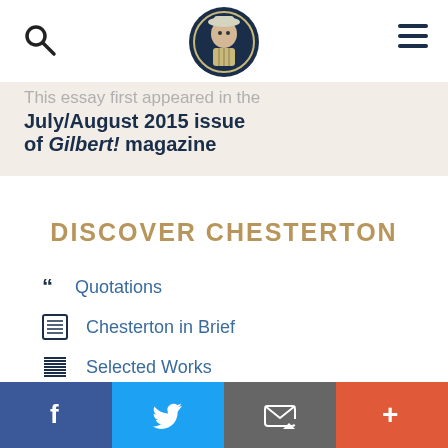This essay first appeared in the July/August 2015 issue of Gilbert! magazine
DISCOVER CHESTERTON
Quotations
Chesterton in Brief
Selected Works
Chestertonian as Apologist
About G.K. Chesterton
Facebook  Twitter  Email  +